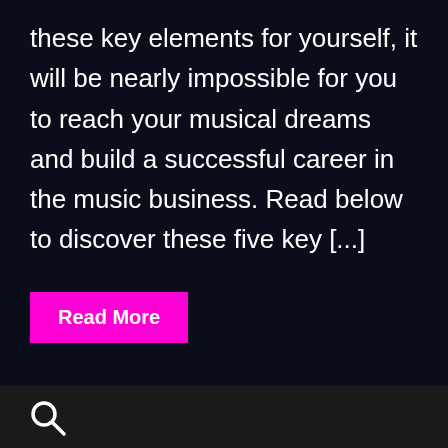these key elements for yourself, it will be nearly impossible for you to reach your musical dreams and build a successful career in the music business. Read below to discover these five key [...]
Read More
[Figure (other): Search icon (magnifying glass) in the footer bar]